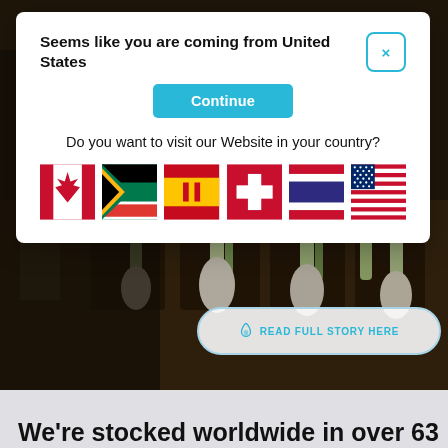[Figure (screenshot): Background photo of a person tending to large leek or onion plants in a greenhouse/farm setting, dark toned image]
Seems like you are coming from United States
Continue
Do you want to visit our Website in your country?
[Figure (illustration): Row of six country flags: Canada, South Africa, Spain, Switzerland, Thailand, United States]
READ FULL STORY HERE
We're stocked worldwide in over 63 countries